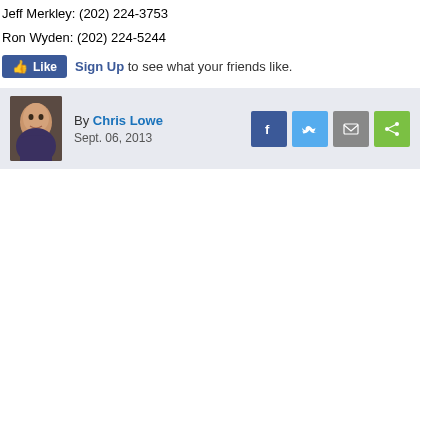Jeff Merkley: (202) 224-3753
Ron Wyden: (202) 224-5244
[Figure (other): Facebook Like button with 'Sign Up to see what your friends like.' text]
[Figure (other): Author bar with photo of Chris Lowe, date Sept. 06, 2013, and social share icons for Facebook, Twitter, email, and share]